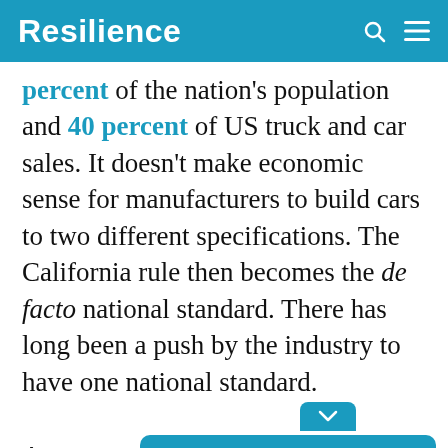Resilience
percent of the nation's population and 40 percent of US truck and car sales. It doesn't make economic sense for manufacturers to build cars to two different specifications. The California rule then becomes the de facto national standard. There has long been a push by the industry to have one national standard.
[Figure (screenshot): A popup survey widget with the question 'How likely are you to recommend Resilience.org to a friend?' and a Reply button, overlaid on the article text.]
Auto m...eased when...ald,